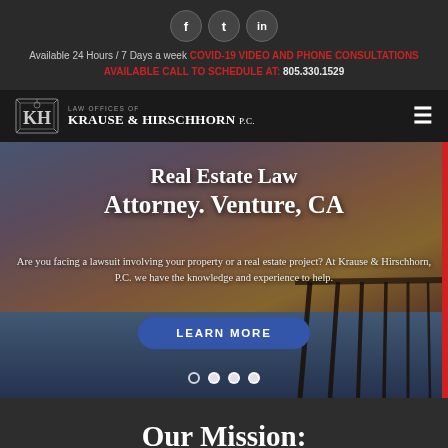[Figure (other): Social media icons: Facebook, Twitter, LinkedIn in dark circles]
Available 24 Hours / 7 Days a week COVID-19 VIDEO AND PHONE CONSULTATIONS AVAILABLE CALL TO SCHEDULE AT: 805.330.1529
[Figure (logo): Law Offices of Krause & Hirschhorn P.C. logo with KH monogram crest]
[Figure (photo): Hero image of a pier at sunset with text overlay: Real Estate Law Attorney. Venture, CA]
Real Estate Law Attorney. Venture, CA
Are you facing a lawsuit involving your property or a real estate project? At Krause & Hirschhorn, P.C. we have the knowledge and experience to help.
LEARN MORE
Our Mission: